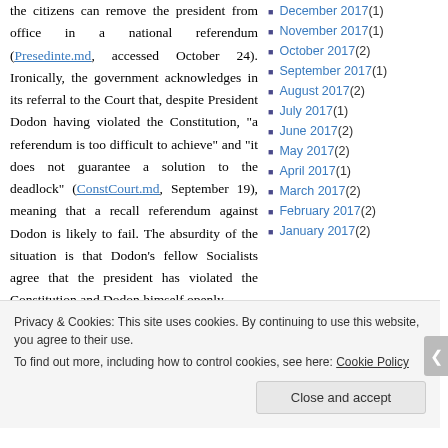the citizens can remove the president from office in a national referendum (Presedinte.md, accessed October 24). Ironically, the government acknowledges in its referral to the Court that, despite President Dodon having violated the Constitution, "a referendum is too difficult to achieve" and "it does not guarantee a solution to the deadlock" (ConstCourt.md, September 19), meaning that a recall referendum against Dodon is likely to fail. The absurdity of the situation is that Dodon's fellow Socialists agree that the president has violated the Constitution and Dodon himself openly
December 2017 (1)
November 2017 (1)
October 2017 (2)
September 2017 (1)
August 2017 (2)
July 2017 (1)
June 2017 (2)
May 2017 (2)
April 2017 (1)
March 2017 (2)
February 2017 (2)
January 2017 (2)
Privacy & Cookies: This site uses cookies. By continuing to use this website, you agree to their use. To find out more, including how to control cookies, see here: Cookie Policy